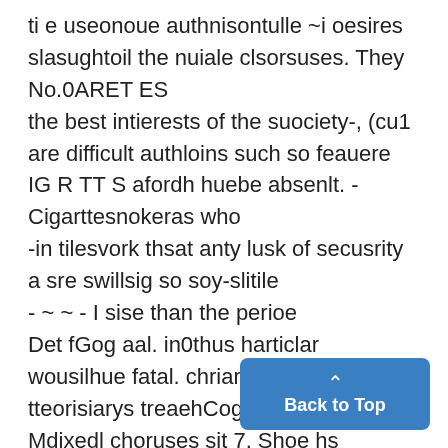ti e useonoue authnisontulle ~i oesires slasughtoil the nuiale clsorsuses. They No.0ARET ES the best intierests of the suociety-, (cu1 are difficult authloins such so feauere IG R TT S afordh huebe absenlt. - Cigarttesnokeras who -in tilesvork thsat anty lusk of secusrity a sre swillsig so soy-slitile - ~ ~ - I sise than the perioe Det fGog aal. in0thus harticlar wousilhue fatal. chriargedfoar tteorisiarys treaehCogareorge, Lalaife. Mdixedl choruses sit 7. Shoe hs